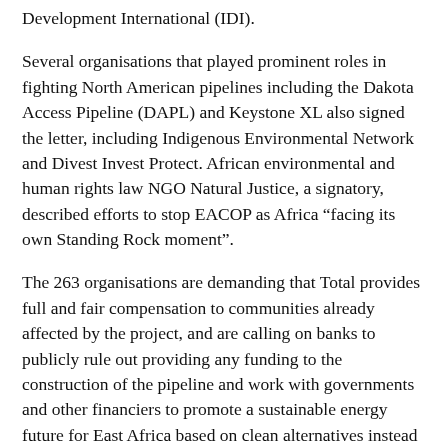Development International (IDI).
Several organisations that played prominent roles in fighting North American pipelines including the Dakota Access Pipeline (DAPL) and Keystone XL also signed the letter, including Indigenous Environmental Network and Divest Invest Protect. African environmental and human rights law NGO Natural Justice, a signatory, described efforts to stop EACOP as Africa “facing its own Standing Rock moment”.
The 263 organisations are demanding that Total provides full and fair compensation to communities already affected by the project, and are calling on banks to publicly rule out providing any funding to the construction of the pipeline and work with governments and other financiers to promote a sustainable energy future for East Africa based on clean alternatives instead of oil.